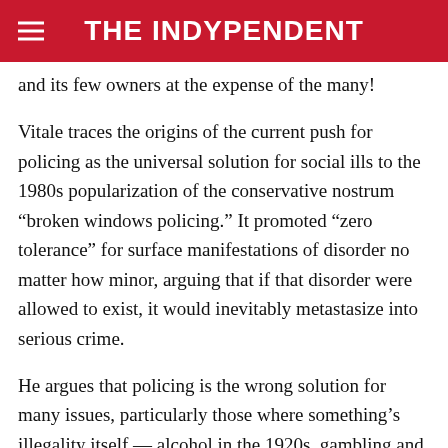THE INDYPENDENT
and its few owners at the expense of the many!
Vitale traces the origins of the current push for policing as the universal solution for social ills to the 1980s popularization of the conservative nostrum “broken windows policing.” It promoted “zero tolerance” for surface manifestations of disorder no matter how minor, arguing that if that disorder were allowed to exist, it would inevitably metastasize into serious crime.
He argues that policing is the wrong solution for many issues, particularly those where something’s illegality itself — alcohol in the 1920s, gambling and marijuana — is what makes it a problem. Drug addiction, he insists, is not a criminal-justice issue: As with sex work, it is beyond this (text continues below page)